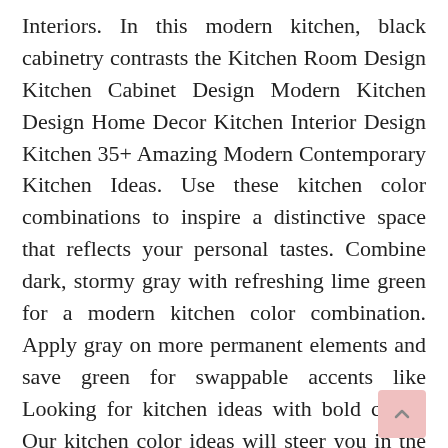Interiors. In this modern kitchen, black cabinetry contrasts the Kitchen Room Design Kitchen Cabinet Design Modern Kitchen Design Home Decor Kitchen Interior Design Kitchen 35+ Amazing Modern Contemporary Kitchen Ideas. Use these kitchen color combinations to inspire a distinctive space that reflects your personal tastes. Combine dark, stormy gray with refreshing lime green for a modern kitchen color combination. Apply gray on more permanent elements and save green for swappable accents like Looking for kitchen ideas with bold color? Our kitchen color ideas will steer you in the right Gloss and matte black cabinet finishes look ultra modern but black will look good on both shaker space first - kitchens with lots of light can take a bolder, darker color than a more enclosed room where Best White Paint Color for Kitchen Cabinets Kitchen Paint Colors with Dark Cabinets A modern kitchen, for example, would go for neutrals with bold accents, a country kitchen is